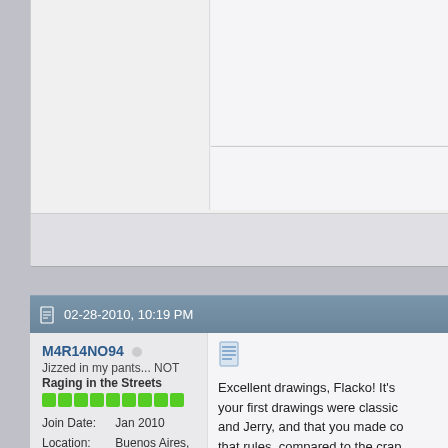02-28-2010, 10:19 PM
M4R14NO94
Jizzed in my pants... NOT
Raging in the Streets
Join Date: Jan 2010
Location: Buenos Aires, Argentina
Age: 27
Posts: 2,819
Rep Power: 35
Excellent drawings, Flacko! It's your first drawings were classic and Jerry, and that you made co that rules, compared to the crap (and it's sequel, Alien Force, wh right now as I type this), Bakuga
Originally Posted by R
Also,
The Sega-16 fighting ga member of the forum wil
Except Zebbe, he's still a